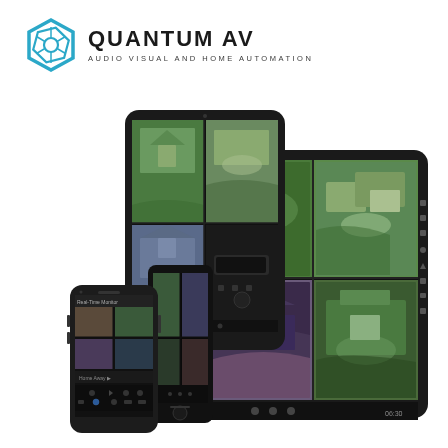[Figure (logo): Quantum AV logo: hexagonal gear icon in teal/blue, brand name QUANTUM AV in bold black, tagline AUDIO VISUAL AND HOME AUTOMATION in small caps]
[Figure (photo): Product lifestyle photo showing multiple devices (smartphone, two tablets, large tablet) displaying a multi-camera CCTV security monitoring app with views of residential properties]